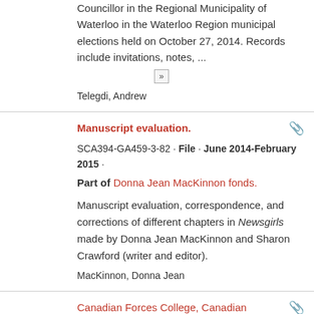Councillor in the Regional Municipality of Waterloo in the Waterloo Region municipal elections held on October 27, 2014. Records include invitations, notes, ...
»
Telegdi, Andrew
Manuscript evaluation.
SCA394-GA459-3-82 · File · June 2014-February 2015 · Part of Donna Jean MacKinnon fonds.
Manuscript evaluation, correspondence, and corrections of different chapters in Newsgirls made by Donna Jean MacKinnon and Sharon Crawford (writer and editor).
MacKinnon, Donna Jean
Canadian Forces College, Canadian Security Studi...
SCA142-GA464-4-134 · File · 2014 ·